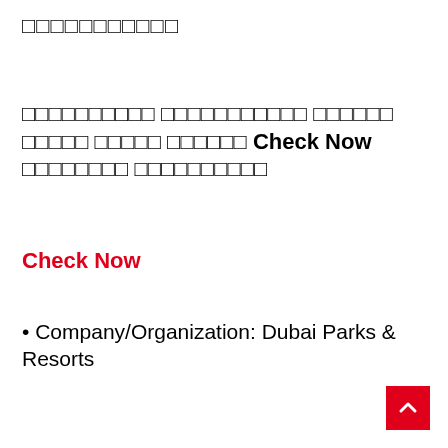□□□□□□□□□□□
□□□□□□□□□□ □□□□□□□□□□□ □□□□□□ □□□□□ □□□□□ □□□□□□ Check Now □□□□□□□□ □□□□□□□□□□
Check Now
• Company/Organization: Dubai Parks & Resorts